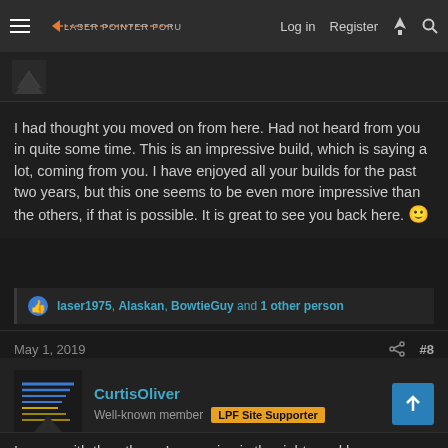Laser Pointer Forums — Log in  Register
I had thought you moved on from here. Had not heard from you in quite some time. This is an impressive build, which is saying a lot, coming from you. I have enjoyed all your builds for the past two years, but this one seems to be even more impressive than the others, if that is possible. It is great to see you back here. 🙂
laser1975, Alaskan, BowtieGuy and 1 other person
May 1, 2019  #8
CurtisOliver
Well-known member  LPF Site Supporter
I agree with the others. Impressive is the right word here.